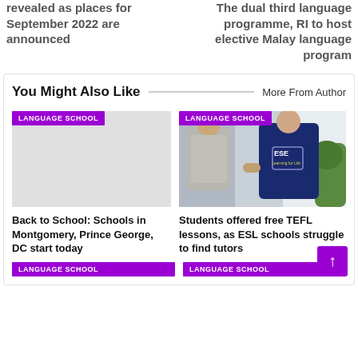revealed as places for September 2022 are announced
The dual third language programme, RI to host elective Malay language program
You Might Also Like
More From Author
LANGUAGE SCHOOL
[Figure (photo): Empty placeholder image area for left card]
Back to School: Schools in Montgomery, Prince George, DC start today
LANGUAGE SCHOOL
[Figure (photo): Photo of two people, one wearing a navy ESE branded shirt, viewed from behind, in an outdoor setting]
Students offered free TEFL lessons, as ESL schools struggle to find tutors
LANGUAGE SCHOOL
LANGUAGE SCHOOL